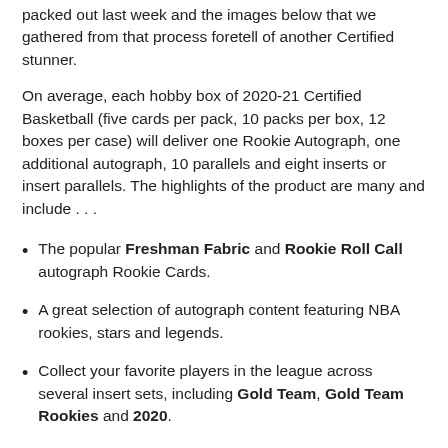packed out last week and the images below that we gathered from that process foretell of another Certified stunner.
On average, each hobby box of 2020-21 Certified Basketball (five cards per pack, 10 packs per box, 12 boxes per case) will deliver one Rookie Autograph, one additional autograph, 10 parallels and eight inserts or insert parallels. The highlights of the product are many and include . . .
The popular Freshman Fabric and Rookie Roll Call autograph Rookie Cards.
A great selection of autograph content featuring NBA rookies, stars and legends.
Collect your favorite players in the league across several insert sets, including Gold Team, Gold Team Rookies and 2020.
Look for the return of The Mighty insert with parallels numbered to as low as one.